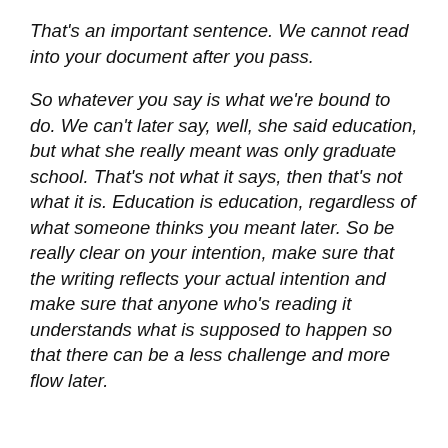That's an important sentence. We cannot read into your document after you pass.
So whatever you say is what we're bound to do. We can't later say, well, she said education, but what she really meant was only graduate school. That's not what it says, then that's not what it is. Education is education, regardless of what someone thinks you meant later. So be really clear on your intention, make sure that the writing reflects your actual intention and make sure that anyone who's reading it understands what is supposed to happen so that there can be a less challenge and more flow later.